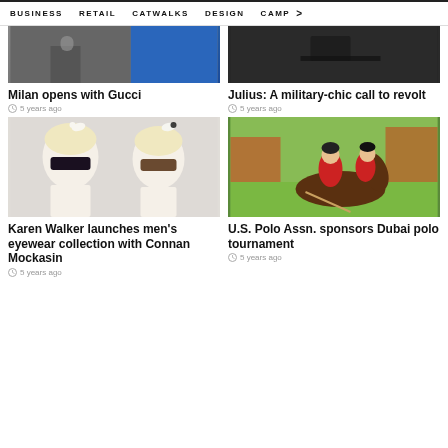BUSINESS  RETAIL  CATWALKS  DESIGN  CAMP >
[Figure (photo): Photo related to Milan Gucci fashion show]
Milan opens with Gucci
5 years ago
[Figure (photo): Photo related to Julius military-chic fashion]
Julius: A military-chic call to revolt
5 years ago
[Figure (photo): Karen Walker eyewear campaign with Connan Mockasin, showing models with blonde hair and dark sunglasses with birds]
Karen Walker launches men's eyewear collection with Connan Mockasin
5 years ago
[Figure (photo): Polo match with riders on horses at Dubai polo tournament]
U.S. Polo Assn. sponsors Dubai polo tournament
5 years ago